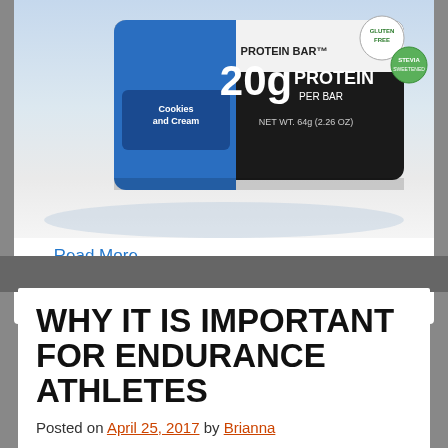[Figure (photo): Protein bar product photo — cookies and cream flavor, 20g protein per bar, gluten free, net wt. 64g (2.26 oz)]
… Read More...
Filed Under: fitness | Tagged: athletes, endurance, protein
WHY IT IS IMPORTANT FOR ENDURANCE ATHLETES
Posted on April 25, 2017 by Brianna
9 g of milk protein, which supports lean muscle mass. Gender – male athletes tend to burn fat preferentially and thus usually require much less protein than feminine athletes who are inclined to burn more protein and carbohydrates – regardless of this physiological distinction, most male athletes